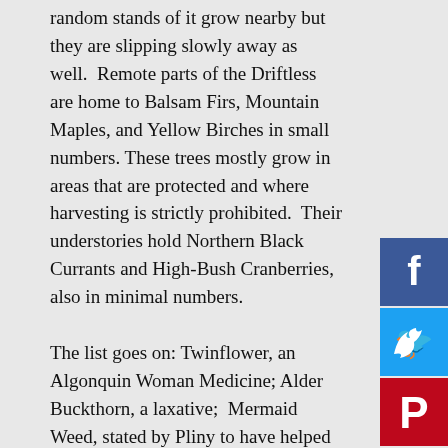random stands of it grow nearby but they are slipping slowly away as well. Remote parts of the Driftless are home to Balsam Firs, Mountain Maples, and Yellow Birches in small numbers. These trees mostly grow in areas that are protected and where harvesting is strictly prohibited. Their under-stories hold Northern Black Currants and High-Bush Cranberries, also in minimal numbers.

The list goes on: Twinflower, an Algonquin Woman Medicine; Alder Buckthorn, a laxative; Mermaid Weed, stated by Pliny to have helped allay insect stings outwardly and fatigue inwardly. What more, Iowa is home to over 30 species of orchids, including Yellow Lady's Slipper, Spotted Coral Root, and Downy Rattlesnake Plantain, the most notably medicinal ones. Switching to another biome entirely, a whole other range of herbs– some
[Figure (other): Social media sharing buttons: Facebook (blue), Twitter (blue), Pinterest (red), LinkedIn count badge showing 0, LinkedIn (dark blue), Tumblr (dark blue)]